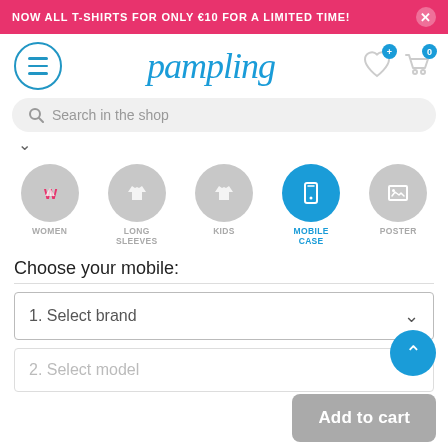NOW ALL T-SHIRTS FOR ONLY €10 FOR A LIMITED TIME!
[Figure (logo): Pampling logo with menu button and cart/wishlist icons]
Search in the shop
[Figure (infographic): Category navigation icons: WOMEN, LONG SLEEVES, KIDS, MOBILE CASE (active), POSTER]
Choose your mobile:
1. Select brand
2. Select model
Add to cart